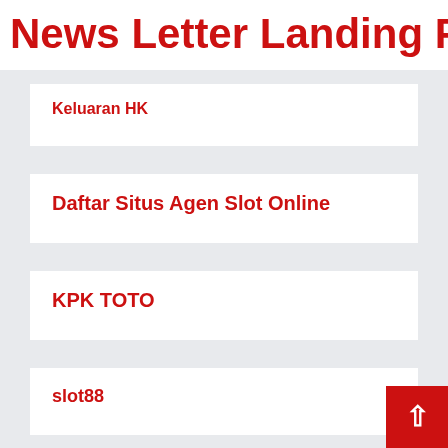News Letter Landing Pag
Keluaran HK
Daftar Situs Agen Slot Online
KPK TOTO
slot88